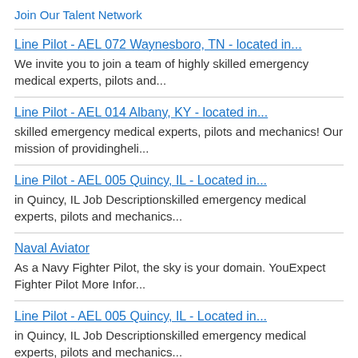Join Our Talent Network
Line Pilot - AEL 072 Waynesboro, TN - located in...
We invite you to join a team of highly skilled emergency medical experts, pilots and...
Line Pilot - AEL 014 Albany, KY - located in...
skilled emergency medical experts, pilots and mechanics! Our mission of providingheli...
Line Pilot - AEL 005 Quincy, IL - Located in...
in Quincy, IL Job Descriptionskilled emergency medical experts, pilots and mechanics...
Naval Aviator
As a Navy Fighter Pilot, the sky is your domain. YouExpect Fighter Pilot More Infor...
Line Pilot - AEL 005 Quincy, IL - Located in...
in Quincy, IL Job Descriptionskilled emergency medical experts, pilots and mechanics...